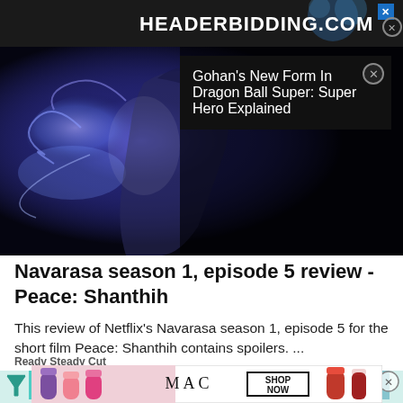[Figure (screenshot): Top ad banner with HEADERBIDDING.COM text on dark background with blue gradient bubble graphic]
[Figure (screenshot): Hero image of anime character (Gohan from Dragon Ball) with blue energy aura on dark background]
Gohan's New Form In Dragon Ball Super: Super Hero Explained
Navarasa season 1, episode 5 review - Peace: Shanthih
This review of Netflix's Navarasa season 1, episode 5 for the short film Peace: Shanthih contains spoilers. ...
Ready Steady Cut
[Figure (screenshot): Bottom ad strip with teal/blue gradient colors and filter icon, with close button]
[Figure (screenshot): MAC cosmetics advertisement showing lipsticks with SHOP NOW button]